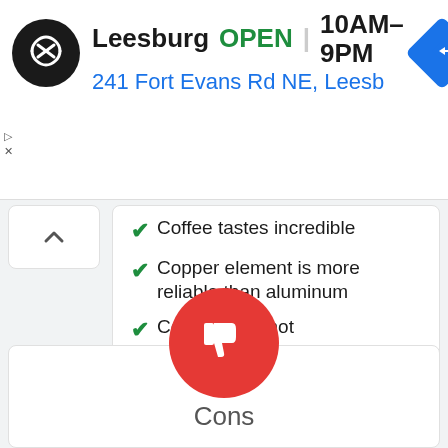[Figure (screenshot): Ad banner showing Leesburg store logo (black circle with double arrow icon), store name 'Leesburg', status 'OPEN', hours '10AM–9PM', address '241 Fort Evans Rd NE, Leesb', and a blue navigation diamond icon]
Coffee tastes incredible
Copper element is more reliable than aluminum
Coffee stays hot
[Figure (illustration): Red circle with white thumbs-down icon representing 'Cons']
Cons
Rather pricey